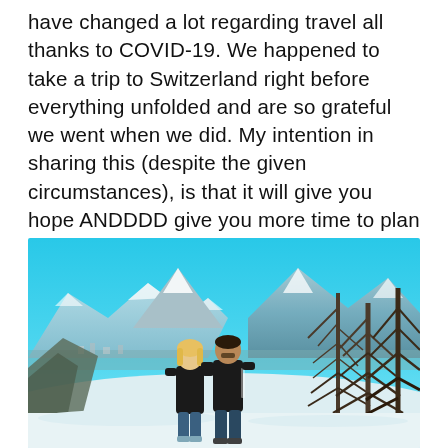have changed a lot regarding travel all thanks to COVID-19. We happened to take a trip to Switzerland right before everything unfolded and are so grateful we went when we did. My intention in sharing this (despite the given circumstances), is that it will give you hope ANDDDD give you more time to plan your future dream trip to this beautiful country.
[Figure (photo): A couple standing on a snowy hillside with snow-capped mountains, a valley town, and tall bare trees in the background under a bright blue sky. Switzerland winter landscape.]